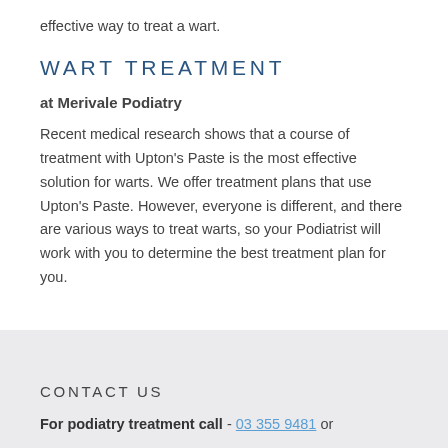effective way to treat a wart.
WART TREATMENT
at Merivale Podiatry
Recent medical research shows that a course of treatment with Upton's Paste is the most effective solution for warts. We offer treatment plans that use Upton's Paste. However, everyone is different, and there are various ways to treat warts, so your Podiatrist will work with you to determine the best treatment plan for you.
CONTACT US
For podiatry treatment call - 03 355 9481 or